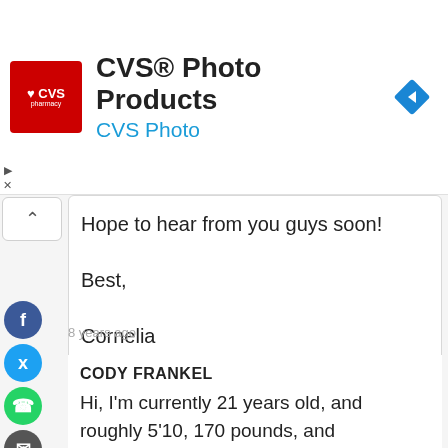[Figure (screenshot): CVS Photo Products advertisement banner with CVS pharmacy logo (red square with white heart and text), title 'CVS® Photo Products', subtitle 'CVS Photo' in blue, and a blue navigation diamond icon on the right.]
Hope to hear from you guys soon!

Best,

Cornelia
8 years ago
CODY FRANKEL
Hi, I'm currently 21 years old, and roughly 5'10, 170 pounds, and Caucasian. I have light brown hair with light blue eyes. I live right near New York City, and I am going to be a senior in college. I